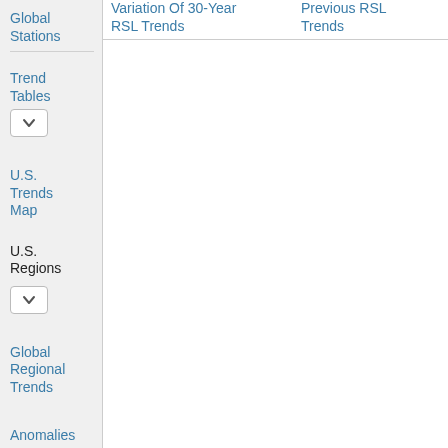Variation Of 30-Year RSL Trends
Previous RSL Trends
Global Stations
Trend Tables
U.S. Trends Map
U.S. Regions
Global Regional Trends
Anomalies